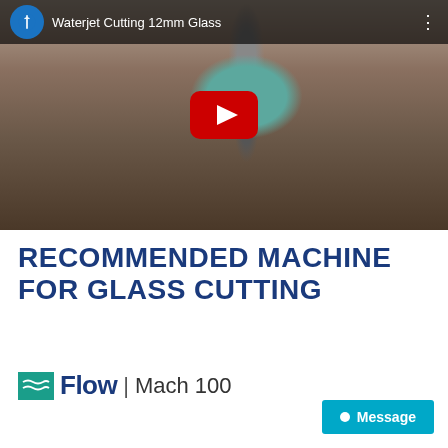[Figure (screenshot): YouTube video thumbnail showing waterjet cutting machine cutting 12mm glass, with blue YouTube logo circle and video title 'Waterjet Cutting 12mm Glass' in top bar, and red YouTube play button in center]
RECOMMENDED MACHINE FOR GLASS CUTTING
Flow | Mach 100
Message